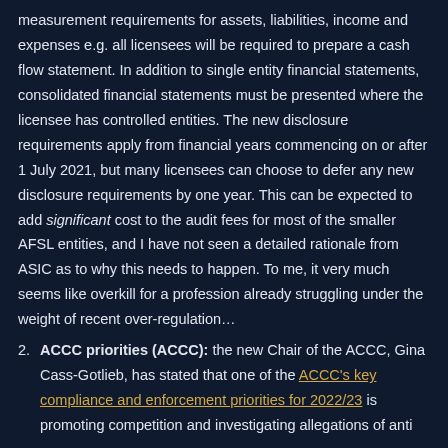measurement requirements for assets, liabilities, income and expenses e.g. all licensees will be required to prepare a cash flow statement. In addition to single entity financial statements, consolidated financial statements must be presented where the licensee has controlled entities. The new disclosure requirements apply from financial years commencing on or after 1 July 2021, but many licensees can choose to defer any new disclosure requirements by one year. This can be expected to add significant cost to the audit fees for most of the smaller AFSL entities, and I have not seen a detailed rationale from ASIC as to why this needs to happen. To me, it very much seems like overkill for a profession already struggling under the weight of recent over-regulation…
2. ACCC priorities (ACCC): the new Chair of the ACCC, Gina Cass-Gotlieb, has stated that one of the ACCC's key compliance and enforcement priorities for 2022/23 is promoting competition and investigating allegations of anti